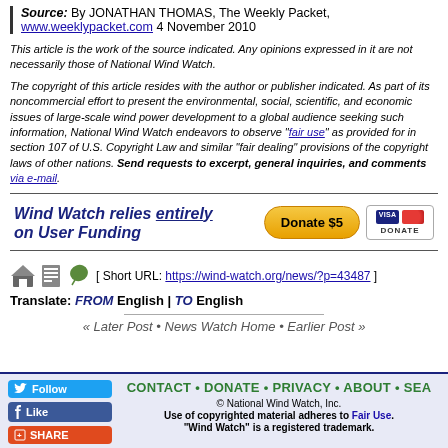Source: By JONATHAN THOMAS, The Weekly Packet, www.weeklypacket.com 4 November 2010
This article is the work of the source indicated. Any opinions expressed in it are not necessarily those of National Wind Watch.
The copyright of this article resides with the author or publisher indicated. As part of its noncommercial effort to present the environmental, social, scientific, and economic issues of large-scale wind power development to a global audience seeking such information, National Wind Watch endeavors to observe "fair use" as provided for in section 107 of U.S. Copyright Law and similar "fair dealing" provisions of the copyright laws of other nations. Send requests to excerpt, general inquiries, and comments via e-mail.
[Figure (infographic): Wind Watch donation banner: 'Wind Watch relies entirely on User Funding' with Donate $5 button and Visa/Mastercard icons]
[ Short URL: https://wind-watch.org/news/?p=43487 ]
Translate: FROM English | TO English
« Later Post • News Watch Home • Earlier Post »
CONTACT • DONATE • PRIVACY • ABOUT • SEA | © National Wind Watch, Inc. Use of copyrighted material adheres to Fair Use. "Wind Watch" is a registered trademark.